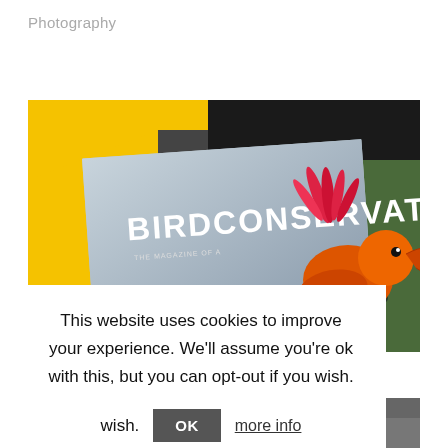Photography
[Figure (photo): Bird Conservation magazine cover with yellow graphic design and orange bird (I'iwi) with red flowers in background]
This website uses cookies to improve your experience. We'll assume you're ok with this, but you can opt-out if you wish.
OK  more info